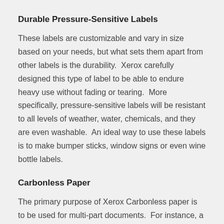Durable Pressure-Sensitive Labels
These labels are customizable and vary in size based on your needs, but what sets them apart from other labels is the durability.  Xerox carefully designed this type of label to be able to endure heavy use without fading or tearing.  More specifically, pressure-sensitive labels will be resistant to all levels of weather, water, chemicals, and they are even washable.  An ideal way to use these labels is to make bumper sticks, window signs or even wine bottle labels.
Carbonless Paper
The primary purpose of Xerox Carbonless paper is to be used for multi-part documents.  For instance, a 3-part order form that has a white, yellow and pink copy – this paper allows you to write on the top sheet and get a clear